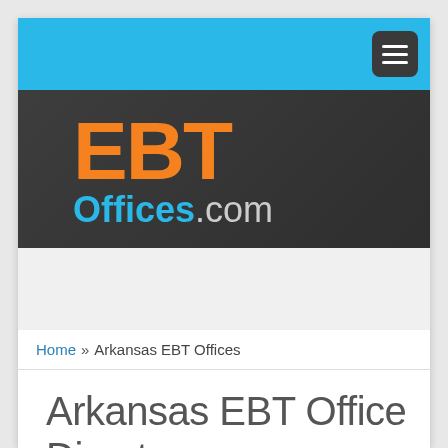EBT Offices.com — navigation menu button
[Figure (logo): EBT Offices.com logo: 'EBT' in large orange bold text, 'Offices' in cyan bold text, '.com' in light gray, on a dark charcoal background]
Home » Arkansas EBT Offices
Arkansas EBT Office Directory